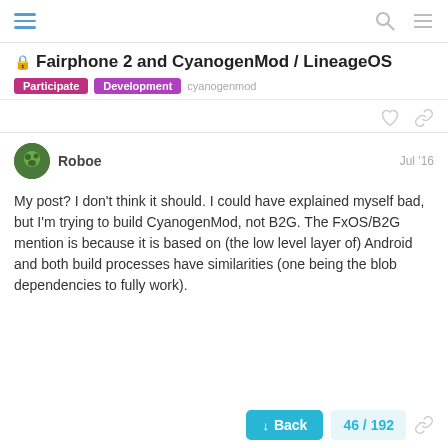Fairphone 2 and CyanogenMod / LineageOS
Participate  Development  cyanogenmod
Roboe   Jul '16
My post? I don't think it should. I could have explained myself bad, but I'm trying to build CyanogenMod, not B2G. The FxOS/B2G mention is because it is based on (the low level layer of) Android and both build processes have similarities (one being the blob dependencies to fully work).
Back
46 / 192